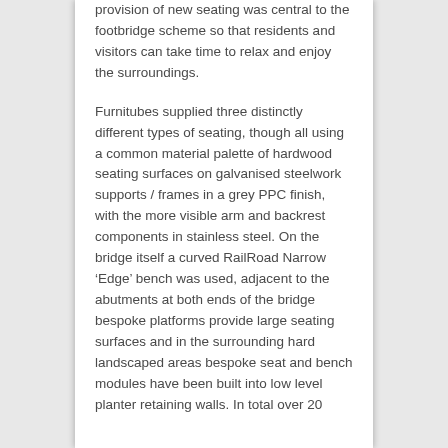provision of new seating was central to the footbridge scheme so that residents and visitors can take time to relax and enjoy the surroundings.
Furnitubes supplied three distinctly different types of seating, though all using a common material palette of hardwood seating surfaces on galvanised steelwork supports / frames in a grey PPC finish, with the more visible arm and backrest components in stainless steel. On the bridge itself a curved RailRoad Narrow 'Edge' bench was used, adjacent to the abutments at both ends of the bridge bespoke platforms provide large seating surfaces and in the surrounding hard landscaped areas bespoke seat and bench modules have been built into low level planter retaining walls. In total over 20